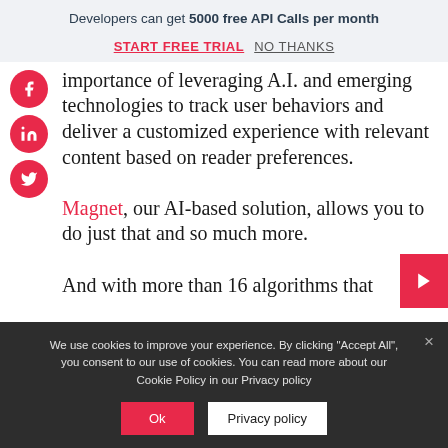Developers can get 5000 free API Calls per month
START FREE TRIAL   NO THANKS
importance of leveraging A.I. and emerging technologies to track user behaviors and deliver a customized experience with relevant content based on reader preferences.

Magnet, our AI-based solution, allows you to do just that and so much more.

And with more than 16 algorithms that
We use cookies to improve your experience. By clicking "Accept All", you consent to our use of cookies. You can read more about our Cookie Policy in our Privacy policy